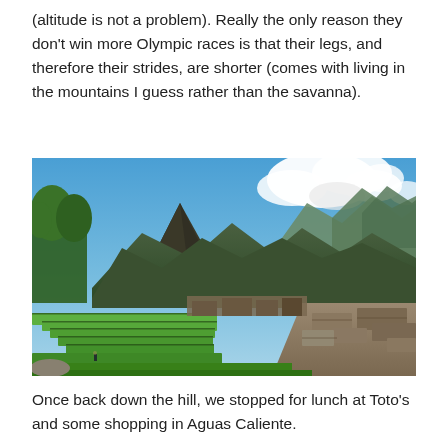(altitude is not a problem). Really the only reason they don't win more Olympic races is that their legs, and therefore their strides, are shorter (comes with living in the mountains I guess rather than the savanna).
[Figure (photo): Aerial view of Machu Picchu ruins with green terraces in the foreground, the iconic Huayna Picchu mountain peak in the center background, surrounded by dramatic Andean mountain ranges and partly cloudy blue sky.]
Once back down the hill, we stopped for lunch at Toto's and some shopping in Aguas Caliente.